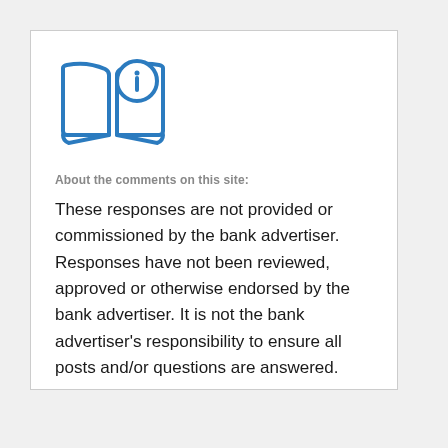[Figure (illustration): Blue icon of an open book with an information symbol (circle with lowercase i) overlaid in the upper right of the book]
About the comments on this site:
These responses are not provided or commissioned by the bank advertiser. Responses have not been reviewed, approved or otherwise endorsed by the bank advertiser. It is not the bank advertiser’s responsibility to ensure all posts and/or questions are answered.